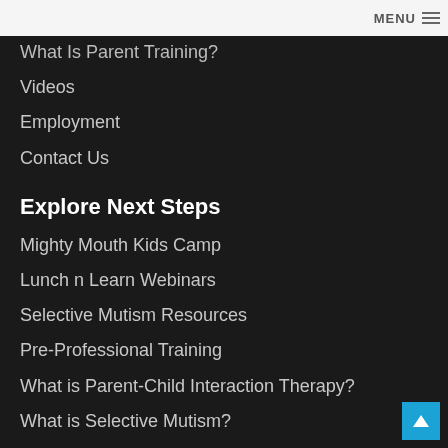MENU
What Is Parent Training?
Videos
Employment
Contact Us
Explore Next Steps
Mighty Mouth Kids Camp
Lunch n Learn Webinars
Selective Mutism Resources
Pre-Professional Training
What is Parent-Child Interaction Therapy?
What is Selective Mutism?
Parent-Child Interaction Therapy (PCIT) Training for Mental Health Professionals